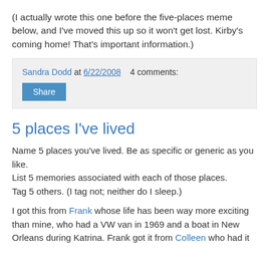(I actually wrote this one before the five-places meme below, and I've moved this up so it won't get lost. Kirby's coming home! That's important information.)
Sandra Dodd at 6/22/2008   4 comments:
Share
5 places I've lived
Name 5 places you've lived. Be as specific or generic as you like.
List 5 memories associated with each of those places.
Tag 5 others. (I tag not; neither do I sleep.)
I got this from Frank whose life has been way more exciting than mine, who had a VW van in 1969 and a boat in New Orleans during Katrina. Frank got it from Colleen who had it from [...]